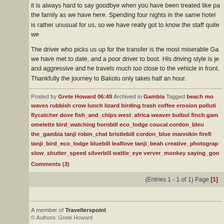it is always hard to say goodbye when you have been treated like part of the family as we have here. Spending four nights in the same hotel is rather unusual for us, so we have really got to know the staff quite we
The driver who picks us up for the transfer is the most miserable Ga we have met to date, and a poor driver to boot. His driving style is je and aggressive and he travels much too close to the vehicle in front. Thankfully the journey to Bakotu only takes half an hour.
Posted by Grete Howard 06:49 Archived in Gambia Tagged beach mo waves rubbish crow lunch lizard birding trash coffee erosion polluti flycatcher dove fish_and_chips west_africa weaver bulbul finch gam omelette bird_watching hornbill eco_lodge coucal cordon_bleu the_gambia tanji robin_chat bristlebill cordon_blue mannikin firefi tanji_bird_eco_lodge bluebill leaflove tanji_beah creative_photograp slow_shutter_speed silverbill wattle_eye verver_monkey saying_goo Comments (3)
(Entries 1 - 1 of 1) Page [1]
A member of Travellerspoint
© Authors: Grete Howard